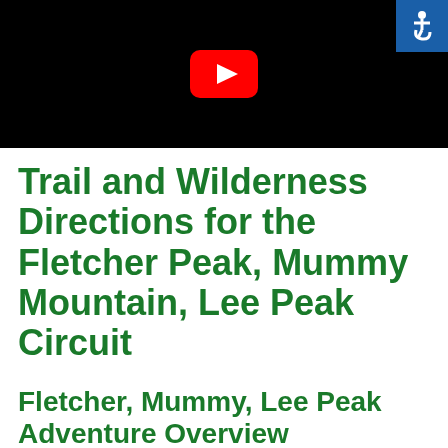[Figure (screenshot): Dark/black video thumbnail with a red YouTube play button icon in the center. An accessibility (wheelchair) icon is in the top-right corner on a blue background.]
Trail and Wilderness Directions for the Fletcher Peak, Mummy Mountain, Lee Peak Circuit
Fletcher, Mummy, Lee Peak Adventure Overview
Travel Time Difference: Wilderness vs Trail